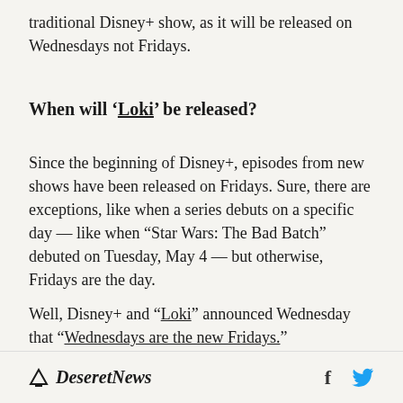traditional Disney+ show, as it will be released on Wednesdays not Fridays.
When will ‘Loki’ be released?
Since the beginning of Disney+, episodes from new shows have been released on Fridays. Sure, there are exceptions, like when a series debuts on a specific day — like when “Star Wars: The Bad Batch” debuted on Tuesday, May 4 — but otherwise, Fridays are the day.
Well, Disney+ and “Loki” announced Wednesday that “Wednesdays are the new Fridays.”
Deseret News